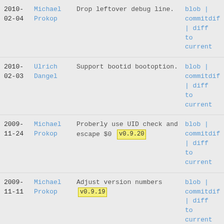2010-02-04 | Michael Prokop | Drop leftover debug line. | blob | commitdiff | diff to current
2010-02-03 | Ulrich Dangel | Support bootid bootoption. | blob | commitdiff | diff to current
2009-11-24 | Michael Prokop | Proberly use UID check and escape $0 v0.9.20 | blob | commitdiff | diff to current
2009-11-11 | Michael Prokop | Adjust version numbers v0.9.19 | blob | commitdiff | diff to current
2009-11-10 | Ulrich Dangel | Increrased version number. | blob | commitdiff | diff to current
2009- | Ulrich | Mount vfat devices with | blob |